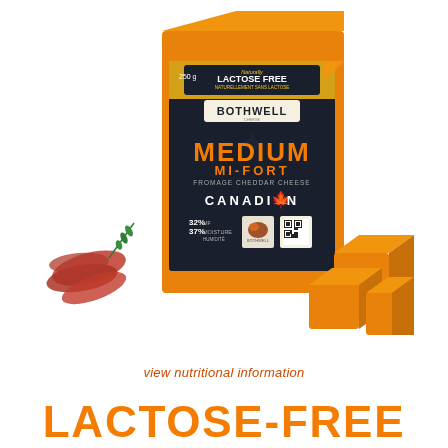[Figure (photo): Bothwell Medium Cheddar Cheese 250g block with dark label reading LACTOSE FREE, BOTHWELL, MEDIUM MI-FORT, FROMAGE CHEDDAR CHEESE, CANADIAN, 32% MF, 37% Moisture. Surrounded by deli meat, rosemary sprigs, and orange cheese cubes on a white background.]
view nutritional information
LACTOSE-FREE MEDIUM